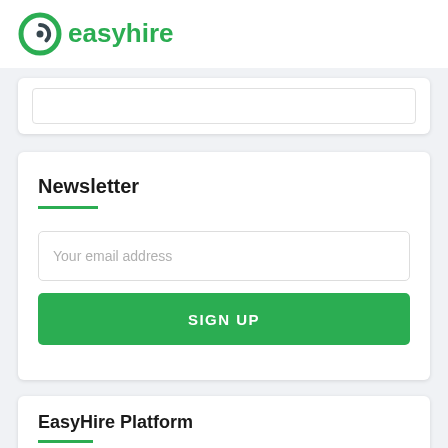[Figure (logo): EasyHire logo — circular green target icon followed by 'easyhire' in green text]
Newsletter
Your email address
SIGN UP
EasyHire Platform
Find hire me...